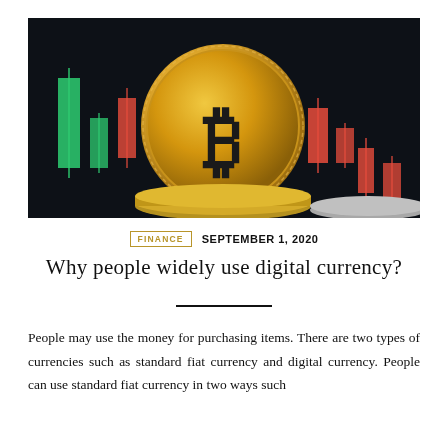[Figure (photo): Bitcoin gold coin standing on stacked silver coins, with a stock market candlestick chart in the background showing green and red bars on a dark background]
FINANCE   SEPTEMBER 1, 2020
Why people widely use digital currency?
People may use the money for purchasing items. There are two types of currencies such as standard fiat currency and digital currency. People can use standard fiat currency in two ways such